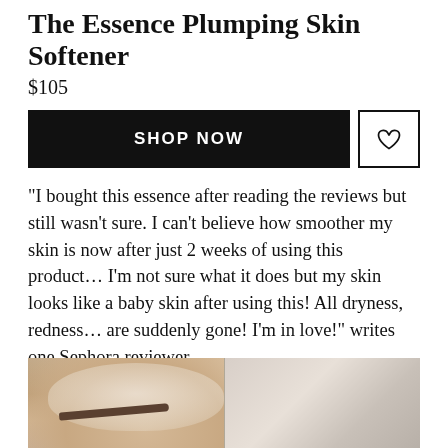The Essence Plumping Skin Softener
$105
SHOP NOW
"I bought this essence after reading the reviews but still wasn't sure. I can't believe how smoother my skin is now after just 2 weeks of using this product… I'm not sure what it does but my skin looks like a baby skin after using this! All dryness, redness… are suddenly gone! I'm in love!" writes one Sephora reviewer.
[Figure (photo): Close-up photo of a person applying a white face mask, shown from the forehead/eye area, with a white towel or cloth on the right side of the image]